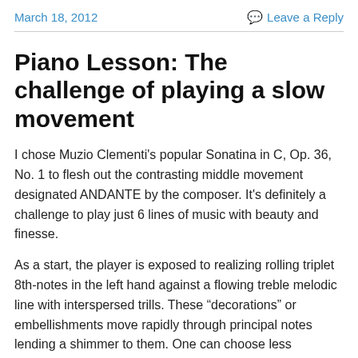March 18, 2012    Leave a Reply
Piano Lesson: The challenge of playing a slow movement
I chose Muzio Clementi's popular Sonatina in C, Op. 36, No. 1 to flesh out the contrasting middle movement designated ANDANTE by the composer. It's definitely a challenge to play just 6 lines of music with beauty and finesse.
As a start, the player is exposed to realizing rolling triplet 8th-notes in the left hand against a flowing treble melodic line with interspersed trills. These “decorations” or embellishments move rapidly through principal notes lending a shimmer to them. One can choose less